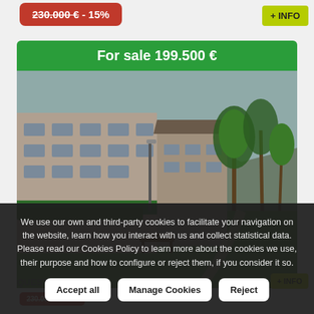230.000 € - 15%
+ INFO
[Figure (photo): Real estate listing card showing a residential apartment building with green hedge fence, palm trees, a park bench, and a walking path. Green header banner reads 'For sale 199.500 €']
For sale 199.500 €
We use our own and third-party cookies to facilitate your navigation on the website, learn how you interact with us and collect statistical data. Please read our Cookies Policy to learn more about the cookies we use, their purpose and how to configure or reject them, if you consider it so.
Accept all
Manage Cookies
Reject
QUESTIONS?
+ INFO